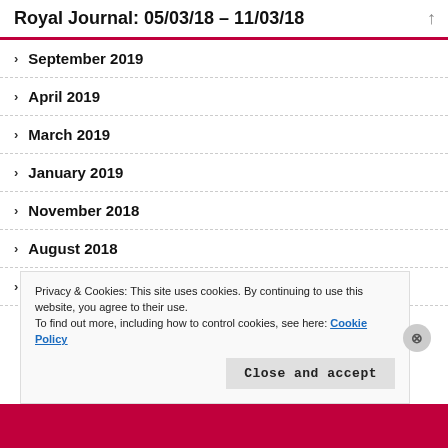Royal Journal: 05/03/18 – 11/03/18
September 2019
April 2019
March 2019
January 2019
November 2018
August 2018
July 2018
Privacy & Cookies: This site uses cookies. By continuing to use this website, you agree to their use. To find out more, including how to control cookies, see here: Cookie Policy
Close and accept